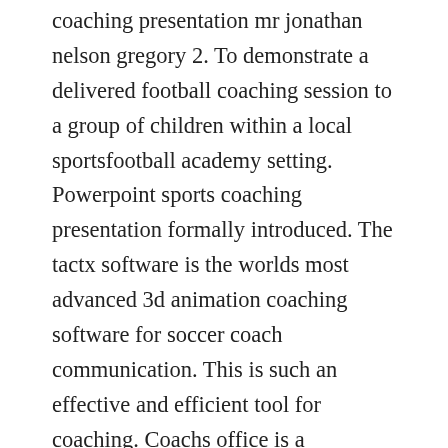coaching presentation mr jonathan nelson gregory 2. To demonstrate a delivered football coaching session to a group of children within a local sportsfootball academy setting. Powerpoint sports coaching presentation formally introduced. The tactx software is the worlds most advanced 3d animation coaching software for soccer coach communication. This is such an effective and efficient tool for coaching. Coachs office is a fullyintegrated set of tools for football coaches in the nfl, college, high school, and youth programs. The